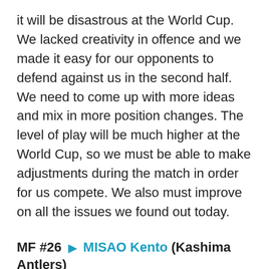it will be disastrous at the World Cup. We lacked creativity in offence and we made it easy for our opponents to defend against us in the second half. We need to come up with more ideas and mix in more position changes. The level of play will be much higher at the World Cup, so we must be able to make adjustments during the match in order for us compete. We also must improve on all the issues we found out today.
MF #26 ▶ MISAO Kento (Kashima Antlers)
When we scored the goal, I honestly didn't